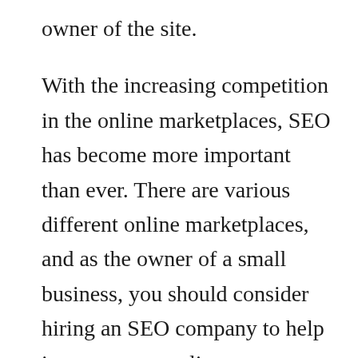owner of the site.

With the increasing competition in the online marketplaces, SEO has become more important than ever. There are various different online marketplaces, and as the owner of a small business, you should consider hiring an SEO company to help increase your online presence. SEO is becoming increasingly popular as more companies are finding that this can improve